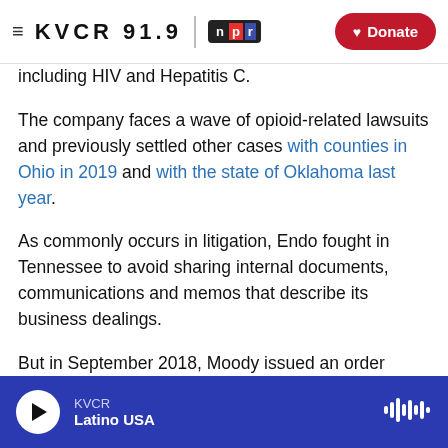KVCR 91.9 NPR | Donate
including HIV and Hepatitis C.
The company faces a wave of opioid-related lawsuits and previously settled other cases with counties in Ohio in 2019 and with the state of Oklahoma last year.
As commonly occurs in litigation, Endo fought in Tennessee to avoid sharing internal documents, communications and memos that describe its business dealings.
But in September 2018, Moody issued an order requiring Endo to divulge detailed information
KVCR | Latino USA